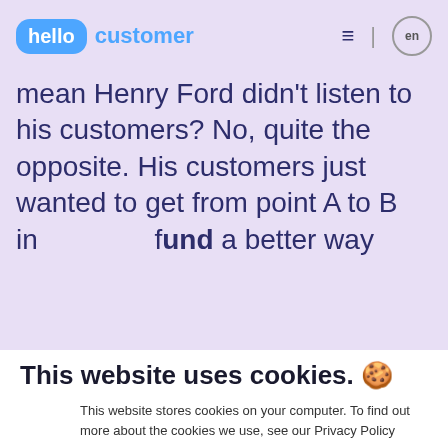[Figure (logo): Hello Customer logo — blue rounded rectangle with 'hello' in white, followed by 'customer' in blue text]
mean Henry Ford didn't listen to his customers? No, quite the opposite. His customers just wanted to get from point A to B in ... found a better way
This website uses cookies. 🍪
This website stores cookies on your computer. To find out more about the cookies we use, see our Privacy Policy
If you decline, your information won't be tracked when you visit this website.
Accept
DECLINE